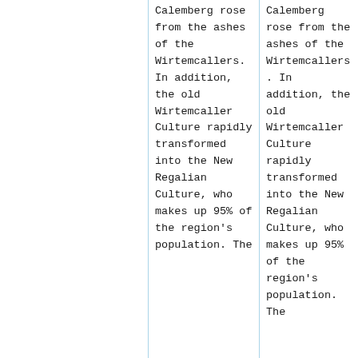Calemberg rose from the ashes of the Wirtemcallers. In addition, the old Wirtemcaller Culture rapidly transformed into the New Regalian Culture, who makes up 95% of the region's population. The
Calemberg rose from the ashes of the Wirtemcallers. In addition, the old Wirtemcaller Culture rapidly transformed into the New Regalian Culture, who makes up 95% of the region's population. The